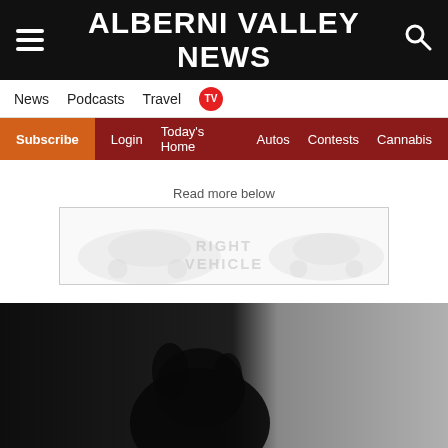ALBERNI VALLEY NEWS
News  Podcasts  Travel  TV
Subscribe  Login  Today's Home  Autos  Contests  Cannabis
Read more below
[Figure (other): Advertisement banner showing faded car silhouettes and the text RIGHT VEHICLE]
[Figure (photo): Black and white photograph showing a dark scene with a person or animal silhouette on the left and a lighter background on the right]
[Figure (other): Advertisement banner: Looking for work or a new career? August 25, 11AM-3PM. Featuring 25+ Exhibitors and Growing! CLICK HERE]